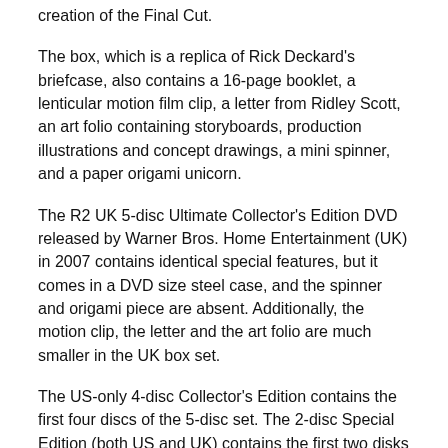creation of the Final Cut.
The box, which is a replica of Rick Deckard's briefcase, also contains a 16-page booklet, a lenticular motion film clip, a letter from Ridley Scott, an art folio containing storyboards, production illustrations and concept drawings, a mini spinner, and a paper origami unicorn.
The R2 UK 5-disc Ultimate Collector's Edition DVD released by Warner Bros. Home Entertainment (UK) in 2007 contains identical special features, but it comes in a DVD size steel case, and the spinner and origami piece are absent. Additionally, the motion clip, the letter and the art folio are much smaller in the UK box set.
The US-only 4-disc Collector's Edition contains the first four discs of the 5-disc set. The 2-disc Special Edition (both US and UK) contains the first two disks of the 5-disc set.
What are the deleted/alternate scenes on the DVD?
Although they are viewable as a series of 24 separate deleted/alternate scenes, the Blade Runner DVD also presents the deleted scenes as a single 47 minute block of scenes, which